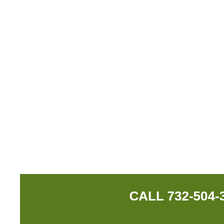CALL 732-504-3743 Contact Us Today!